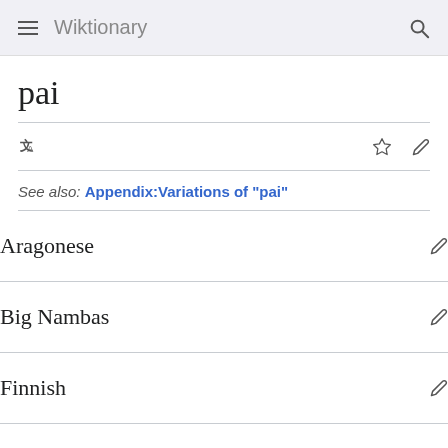Wiktionary
pai
See also: Appendix:Variations of "pai"
Aragonese
Big Nambas
Finnish
Galician